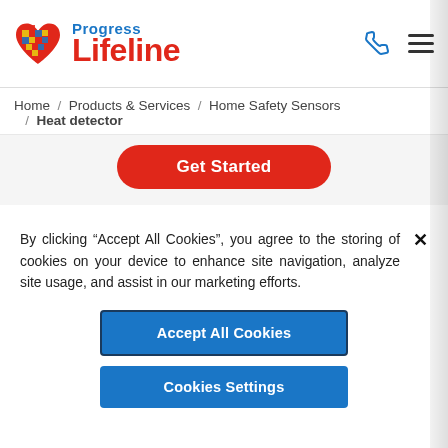[Figure (logo): Progress Lifeline logo with colorful heart icon, 'Progress' in blue and 'Lifeline' in red]
Home / Products & Services / Home Safety Sensors / Heat detector
Get Started
By clicking “Accept All Cookies”, you agree to the storing of cookies on your device to enhance site navigation, analyze site usage, and assist in our marketing efforts.
Accept All Cookies
Cookies Settings